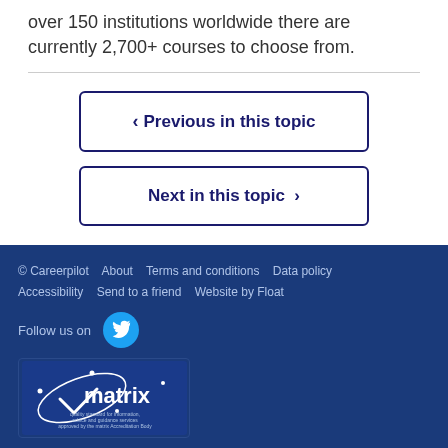over 150 institutions worldwide there are currently 2,700+ courses to choose from.
< Previous in this topic
Next in this topic >
© Careerpilot   About   Terms and conditions   Data policy   Accessibility   Send to a friend   Website by Float   Follow us on [Twitter] [matrix logo]